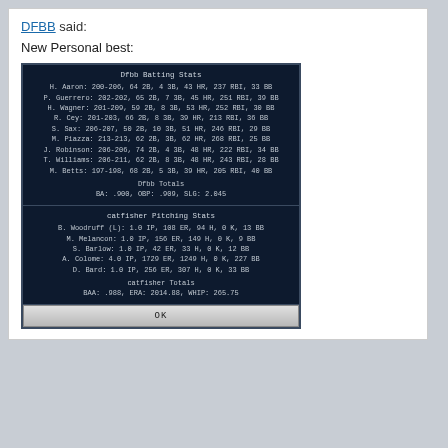DFBB said:
New Personal best:
[Figure (screenshot): Game screenshot showing Dfbb Batting Stats and catfisher Pitching Stats with player lines and totals, plus OK button]
We...